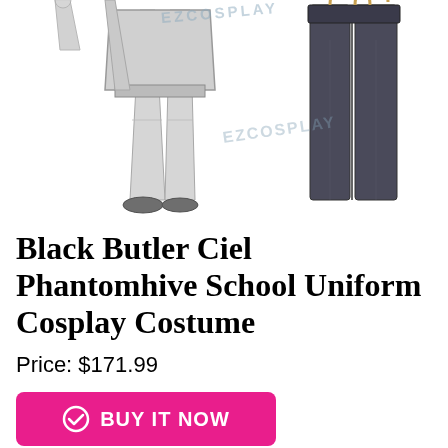[Figure (illustration): Product illustration of Black Butler Ciel Phantomhive School Uniform Cosplay Costume showing the lower half of a character in a dark school uniform suit with trousers, alongside the actual costume pieces including dark trousers hanging. EZCosplay watermark visible.]
Black Butler Ciel Phantomhive School Uniform Cosplay Costume
Price: $171.99
BUY IT NOW